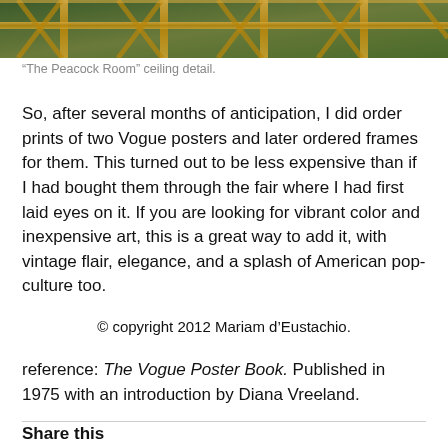[Figure (photo): Close-up ceiling detail of 'The Peacock Room' showing ornate golden geometric latticework with dark green/teal background, partially cropped at the top of the page.]
“The Peacock Room” ceiling detail.
So, after several months of anticipation, I did order prints of two Vogue posters and later ordered frames for them. This turned out to be less expensive than if I had bought them through the fair where I had first laid eyes on it. If you are looking for vibrant color and inexpensive art, this is a great way to add it, with vintage flair, elegance, and a splash of American pop-culture too.
© copyright 2012 Mariam d’Eustachio.
reference: The Vogue Poster Book. Published in 1975 with an introduction by Diana Vreeland.
Share this